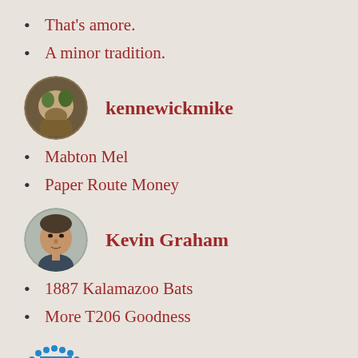That's amore.
A minor tradition.
kennewickmike
Mabton Mel
Paper Route Money
Kevin Graham
1887 Kalamazoo Bats
More T206 Goodness
Leman Saunders
Out of the Shadows: Revealing an